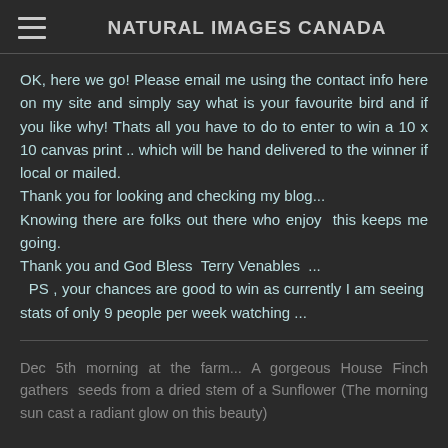NATURAL IMAGES CANADA
OK, here we go!  Please email me using the contact info here on my site and simply say what is your favourite bird and if you like why!  Thats all you have to do to enter to win a 10 x 10 canvas print .. which will be hand delivered to the winner if local or mailed.
Thank you for looking and checking my blog...
Knowing there are folks out there who enjoy  this keeps me going.
Thank you and God Bless  Terry Venables  ...
  PS , your chances are good to win as currently I am seeing  stats of only 9 people per week watching ...
Dec 5th morning at the farm... A gorgeous House Finch gathers  seeds from a dried stem of a Sunflower (The morning sun cast a radiant glow on this beauty)